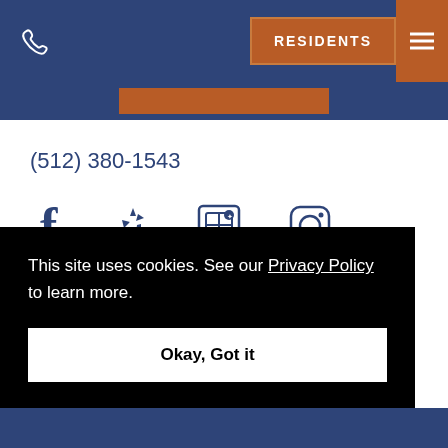RESIDENTS
(512) 380-1543
[Figure (illustration): Social media icons: Facebook, Yelp, store/shop icon, Instagram]
[Figure (logo): Partial logo visible at bottom left]
This site uses cookies. See our Privacy Policy to learn more.
Okay, Got it